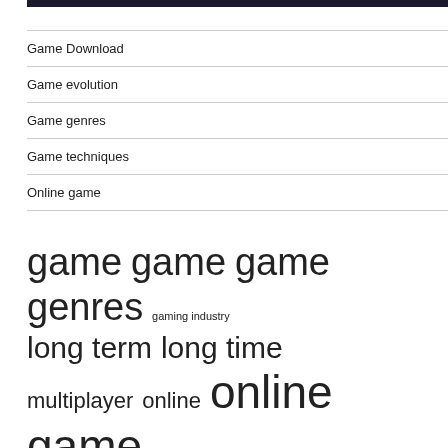Game Download
Game evolution
Game genres
Game techniques
Online game
game game game genres gaming industry long term long time multiplayer online online game online games online gaming play game playing game playing games read author real time role playing